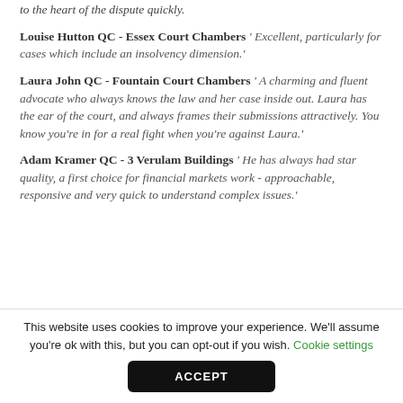to the heart of the dispute quickly.
Louise Hutton QC - Essex Court Chambers ' Excellent, particularly for cases which include an insolvency dimension.'
Laura John QC - Fountain Court Chambers ' A charming and fluent advocate who always knows the law and her case inside out. Laura has the ear of the court, and always frames their submissions attractively. You know you're in for a real fight when you're against Laura.'
Adam Kramer QC - 3 Verulam Buildings ' He has always had star quality, a first choice for financial markets work - approachable, responsive and very quick to understand complex issues.'
This website uses cookies to improve your experience. We'll assume you're ok with this, but you can opt-out if you wish. Cookie settings
ACCEPT